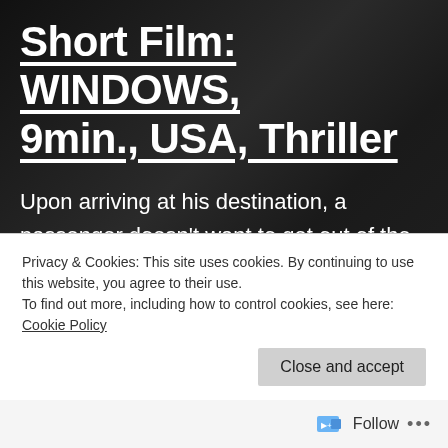Short Film: WINDOWS, 9min., USA, Thriller
Upon arriving at his destination, a passenger doesn't want to get out of the car. Instead, he recounts his troubles to his driver with hopes of getting some guidance for his ever-growing p...
Privacy & Cookies: This site uses cookies. By continuing to use this website, you agree to their use. To find out more, including how to control cookies, see here: Cookie Policy